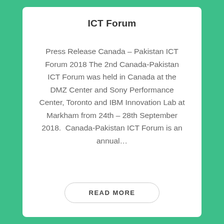ICT Forum
Press Release Canada – Pakistan ICT Forum 2018 The 2nd Canada-Pakistan ICT Forum was held in Canada at the DMZ Center and Sony Performance Center, Toronto and IBM Innovation Lab at Markham from 24th – 28th September 2018.  Canada-Pakistan ICT Forum is an annual…
READ MORE